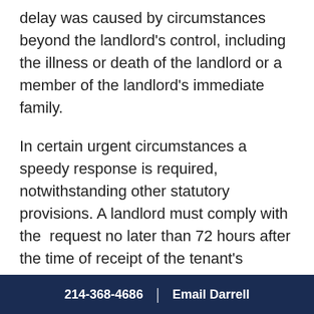delay was caused by circumstances beyond the landlord's control, including the illness or death of the landlord or a member of the landlord's immediate family.
In certain urgent circumstances a speedy response is required, notwithstanding other statutory provisions. A landlord must comply with the request no later than 72 hours after the time of receipt of the tenant's request and any required advance payment if, at the time of the request, the tenant informs the landlord of the following:
214-368-4686 | Email Darrell